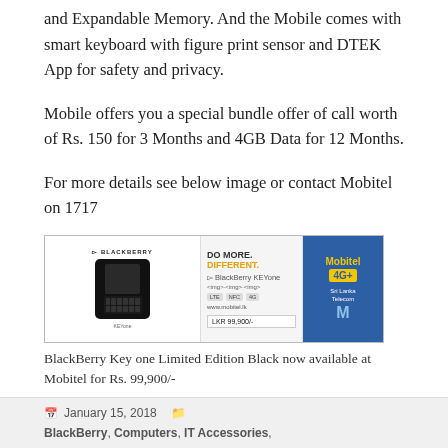and Expandable Memory. And the Mobile comes with smart keyboard with figure print sensor and DTEK App for safety and privacy.
Mobile offers you a special bundle offer of call worth of Rs. 150 for 3 Months and 4GB Data for 12 Months.
For more details see below image or contact Mobitel on 1717
[Figure (photo): BlackBerry Key one Limited Edition Black advertisement banner with Mobitel 4G branding. Shows device, 'DO MORE. DIFFERENT.' tagline, specs, price LKR 99,900/-, and Mobitel Sri Lanka Telecom logo.]
BlackBerry Key one Limited Edition Black now available at Mobitel for Rs. 99,900/-
[Figure (infographic): Social media icons row: RSS (orange), Follow (gray), Facebook (blue), Twitter (light blue)]
January 15, 2018   BlackBerry, Computers, IT Accessories,